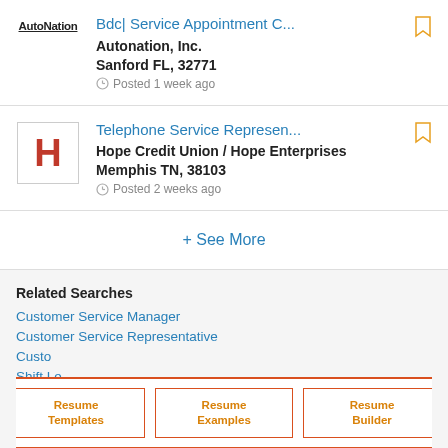[Figure (screenshot): AutoNation company logo text with underline]
Bdc| Service Appointment C...
Autonation, Inc.
Sanford FL, 32771
Posted 1 week ago
[Figure (logo): Hope Credit Union logo - red bold H in a bordered box]
Telephone Service Represen...
Hope Credit Union / Hope Enterprises
Memphis TN, 38103
Posted 2 weeks ago
+ See More
Related Searches
Customer Service Manager
Customer Service Representative
Custo...
Shift Le...
Custo...
Resume Templates
Resume Examples
Resume Builder